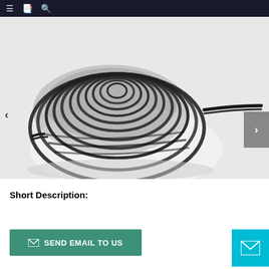Navigation bar with menu, bookmark, and search icons
[Figure (photo): A coiled bundle of black braided/waxed cord or rope on a white background, with one end of the cord extending to the right.]
Short Description:
SEND EMAIL TO US